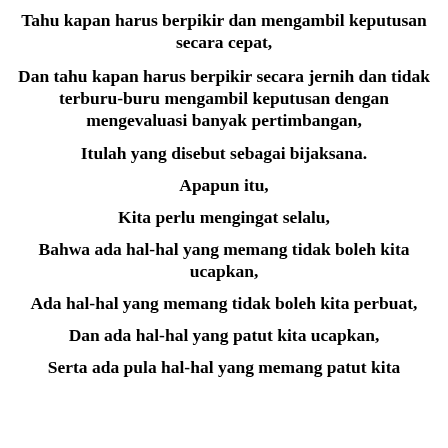Tahu kapan harus berpikir dan mengambil keputusan secara cepat,
Dan tahu kapan harus berpikir secara jernih dan tidak terburu-buru mengambil keputusan dengan mengevaluasi banyak pertimbangan,
Itulah yang disebut sebagai bijaksana.
Apapun itu,
Kita perlu mengingat selalu,
Bahwa ada hal-hal yang memang tidak boleh kita ucapkan,
Ada hal-hal yang memang tidak boleh kita perbuat,
Dan ada hal-hal yang patut kita ucapkan,
Serta ada pula hal-hal yang memang patut kita perbuat, dan seterusnya.